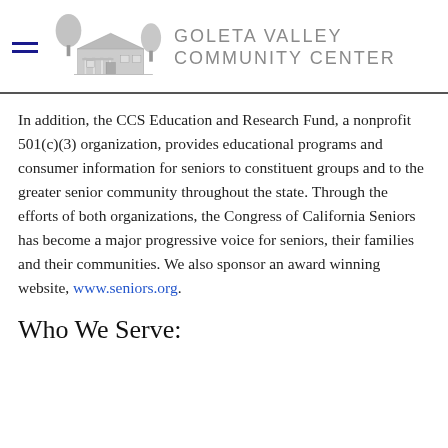GOLETA VALLEY COMMUNITY CENTER
In addition, the CCS Education and Research Fund, a nonprofit 501(c)(3) organization, provides educational programs and consumer information for seniors to constituent groups and to the greater senior community throughout the state. Through the efforts of both organizations, the Congress of California Seniors has become a major progressive voice for seniors, their families and their communities. We also sponsor an award winning website, www.seniors.org.
Who We Serve: